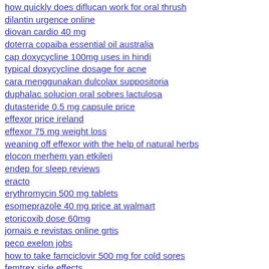how quickly does diflucan work for oral thrush
dilantin urgence online
diovan cardio 40 mg
doterra copaiba essential oil australia
cap doxycycline 100mg uses in hindi
typical doxycycline dosage for acne
cara menggunakan dulcolax suppositoria
duphalac solucion oral sobres lactulosa
dutasteride 0.5 mg capsule price
effexor price ireland
effexor 75 mg weight loss
weaning off effexor with the help of natural herbs
elocon merhem yan etkileri
endep for sleep reviews
eracto
erythromycin 500 mg tablets
esomeprazole 40 mg price at walmart
etoricoxib dose 60mg
jornais e revistas online grtis
peco exelon jobs
how to take famciclovir 500 mg for cold sores
femtrex side effects
finasterida 5mg 60 comprimidos preo
finasteride cvs pharmacy
fitness fusion burgaw nc hours